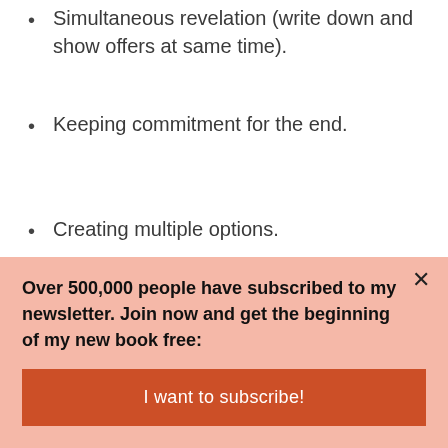Simultaneous revelation (write down and show offers at same time).
Keeping commitment for the end.
Creating multiple options.
Both sides like each other and want the other person to help.
Over 500,000 people have subscribed to my newsletter. Join now and get the beginning of my new book free:
I want to subscribe!